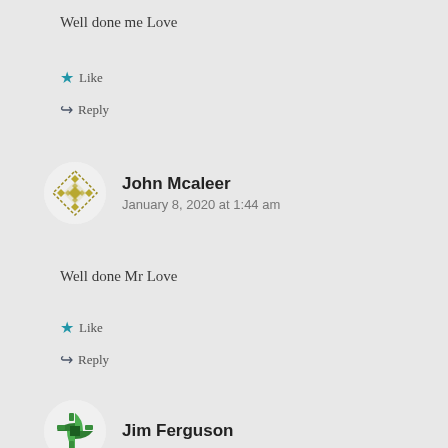Well done me Love
Like
Reply
John Mcaleer
January 8, 2020 at 1:44 am
Well done Mr Love
Like
Reply
Jim Ferguson